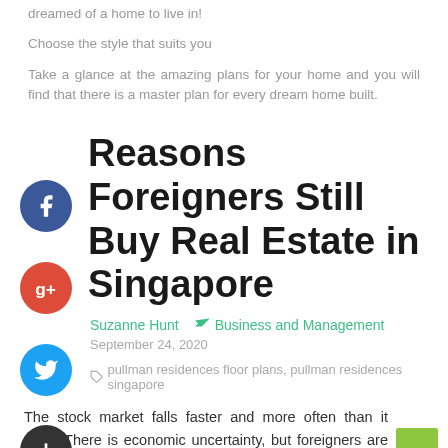dreamed of a home to live in!
Choose the style that suits you
Take a glance at the amazing plans for your home and you will find that there is a master plan for every dream home built.
Reasons Foreigners Still Buy Real Estate in Singapore
Suzanne Hunt   Business and Management
September 24, 2020   pullman residences floor plans, pullman residences singapore
The stock market falls faster and more often than it rises. There is economic uncertainty, but foreigners are still buying a property in Singapore.